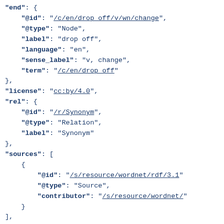JSON-LD code snippet showing end, license, rel, sources, and start fields with linked data values